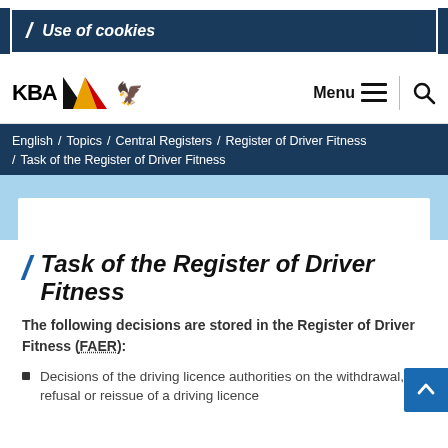Use of cookies
KBA — Menu / Search
English / Topics / Central Registers / Register of Driver Fitness / Task of the Register of Driver Fitness
Task of the Register of Driver Fitness
The following decisions are stored in the Register of Driver Fitness (FAER):
Decisions of the driving licence authorities on the withdrawal, refusal or reissue of a driving licence